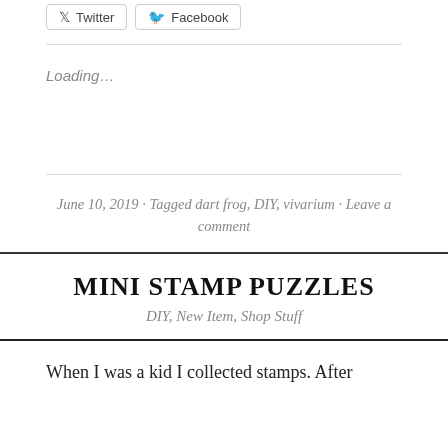[Figure (other): Social share buttons for Twitter and Facebook]
Loading...
June 10, 2019 · Tagged dart frog, DIY, vivarium · Leave a comment
MINI STAMP PUZZLES
DIY, New Item, Shop Stuff
When I was a kid I collected stamps. After